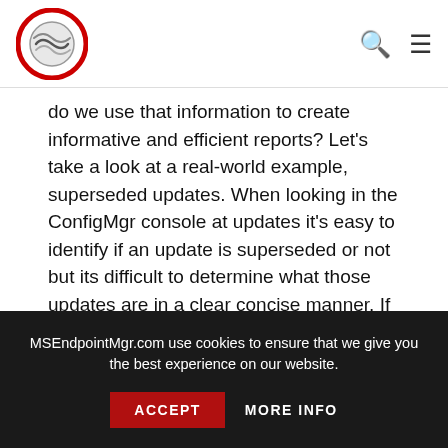MSEndpointMgr logo, search icon, menu icon
do we use that information to create informative and efficient reports? Let's take a look at a real-world example, superseded updates. When looking in the ConfigMgr console at updates it's easy to identify if an update is superseded or not but its difficult to determine what those updates are in a clear concise manner. If we crack open the ConfigMgr console we know we can get the list of updates that supersede from the console with a couple of quick clicks. First, we open the 'Software Library' workspace and expand the 'Software Updates' -> 'All Software Updates' section. Once
MSEndpointMgr.com use cookies to ensure that we give you the best experience on our website.
ACCEPT   MORE INFO